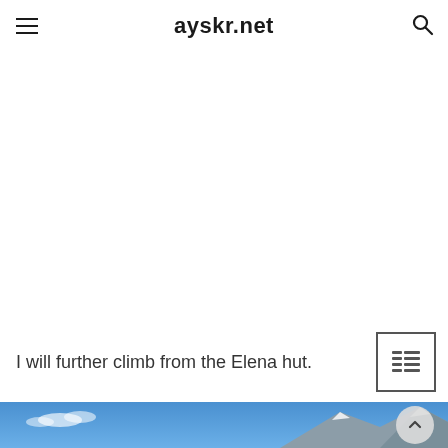ayskr.net
I will further climb from the Elena hut.
[Figure (other): Table-of-contents / list icon inside a square border box]
[Figure (photo): Mountain landscape with blue sky, clouds, and snow-capped mountain peaks visible at the bottom of the page]